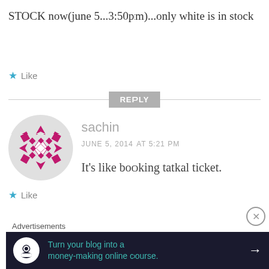STOCK now(june 5...3:50pm)...only white is in stock
★ Like
REPLY
[Figure (logo): Circular avatar with magenta/pink decorative geometric arrow pattern on white background]
sachin
JUNE 5, 2014 AT 5:21 PM
It's like booking tatkal ticket.
★ Like
Advertisements
[Figure (infographic): Dark advertisement banner: Turn your blog into a money-making online course. with arrow icon]